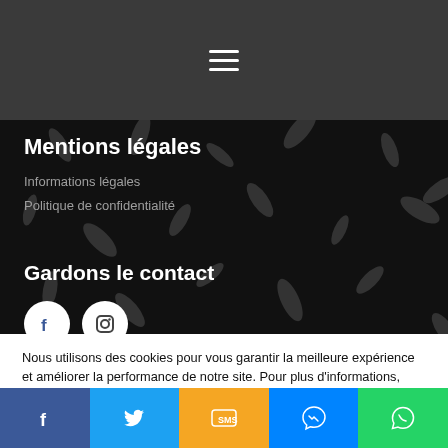[Figure (screenshot): Hamburger menu icon (three horizontal white lines) on dark grey background header bar]
Mentions légales
Informations légales
Politique de confidentialité
Gardons le contact
[Figure (illustration): Two white circular social media icons: Facebook (f) and Instagram (camera) on dark background]
Nous utilisons des cookies pour vous garantir la meilleure expérience et améliorer la performance de notre site. Pour plus d'informations, consultez notre politique de confidentialité. En continuant votre navigation, vous acceptez le dépôt des cookies.
[Figure (screenshot): Bottom social sharing bar with Facebook (blue), Twitter (light blue), SMS (orange), Messenger (blue), WhatsApp (green) buttons]